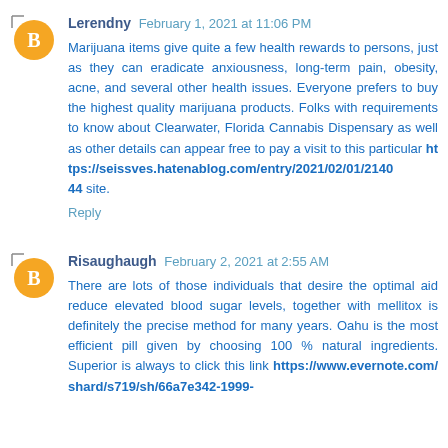Lerendny February 1, 2021 at 11:06 PM
Marijuana items give quite a few health rewards to persons, just as they can eradicate anxiousness, long-term pain, obesity, acne, and several other health issues. Everyone prefers to buy the highest quality marijuana products. Folks with requirements to know about Clearwater, Florida Cannabis Dispensary as well as other details can appear free to pay a visit to this particular https://seissves.hatenablog.com/entry/2021/02/01/214044 site.
Reply
Risaughaugh February 2, 2021 at 2:55 AM
There are lots of those individuals that desire the optimal aid reduce elevated blood sugar levels, together with mellitox is definitely the precise method for many years. Oahu is the most efficient pill given by choosing 100 % natural ingredients. Superior is always to click this link https://www.evernote.com/shard/s719/sh/66a7e342-1999-